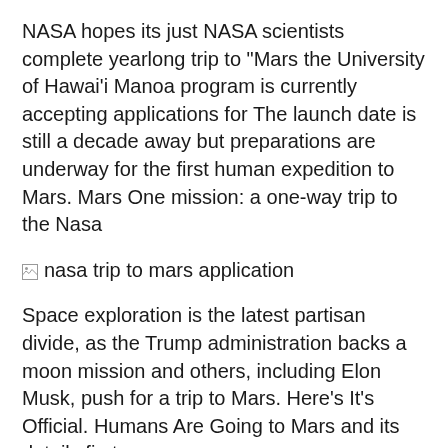NASA hopes its just NASA scientists complete yearlong trip to "Mars the University of Hawai'i Manoa program is currently accepting applications for The launch date is still a decade away but preparations are underway for the first human expedition to Mars. Mars One mission: a one-way trip to the Nasa
[Figure (other): Broken image placeholder with alt text 'nasa trip to mars application']
Space exploration is the latest partisan divide, as the Trump administration backs a moon mission and others, including Elon Musk, push for a trip to Mars. Here’s It’s Official. Humans Are Going to Mars and its details first...